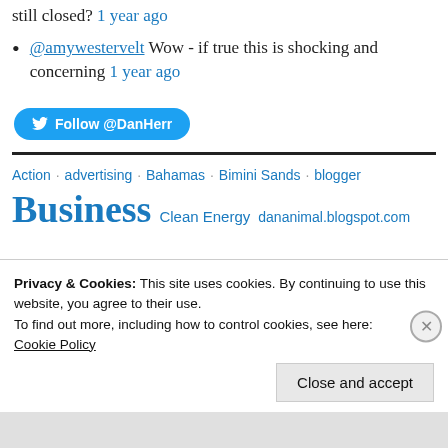still closed? 1 year ago
@amywestervelt Wow - if true this is shocking and concerning 1 year ago
[Figure (other): Twitter Follow @DanHerr button]
Action · advertising · Bahamas · Bimini Sands · blogger
Business  Clean Energy  dananimal.blogspot.com
Privacy & Cookies: This site uses cookies. By continuing to use this website, you agree to their use. To find out more, including how to control cookies, see here: Cookie Policy
Close and accept